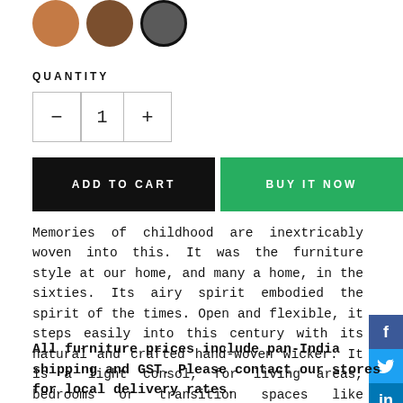[Figure (illustration): Three circular color swatches: light brown, dark brown, and dark grey (selected, with black border ring)]
QUANTITY
[Figure (other): Quantity selector control with minus button, value of 1, and plus button]
[Figure (other): ADD TO CART button (black) and BUY IT NOW button (green), with social sharing icons (Facebook, Twitter, LinkedIn, Pinterest) on the right edge]
Memories of childhood are inextricably woven into this. It was the furniture style at our home, and many a home, in the sixties. Its airy spirit embodied the spirit of the times. Open and flexible, it steps easily into this century with its natural and crafted hand-woven wicker. It is a light consol, for living areas, bedrooms or transition spaces like verandahs.
All furniture prices include pan-India shipping and GST. Please contact our stores for local delivery rates.